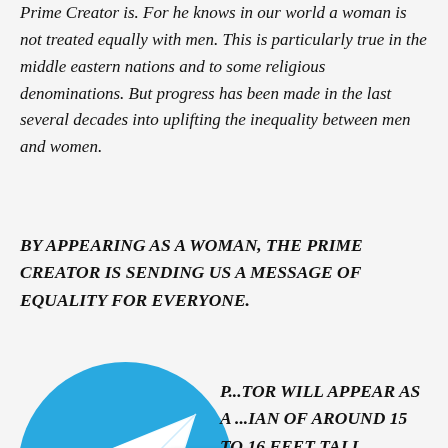Prime Creator is. For he knows in our world a woman is not treated equally with men. This is particularly true in the middle eastern nations and to some religious denominations. But progress has been made in the last several decades into uplifting the inequality between men and women.
BY APPEARING AS A WOMAN, THE PRIME CREATOR IS SENDING US A MESSAGE OF EQUALITY FOR EVERYONE.
[Figure (logo): Telegram app logo — blue circle with white paper plane icon, with a 'Join Us!' speech bubble overlay]
P...TOR WILL APPEAR AS A ...IAN OF AROUND 15 TO 16 FEET TALL.